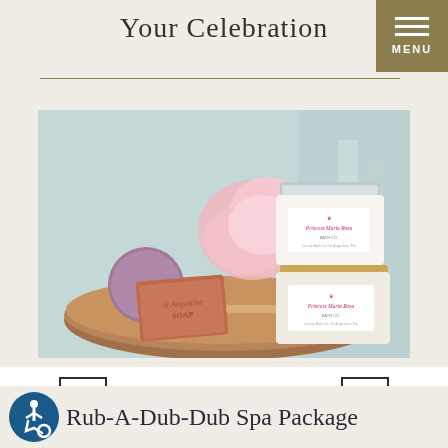Your Celebration
[Figure (other): Navigation menu button with three horizontal lines and text MENU on a dark gold/olive background]
[Figure (photo): Product photo showing St. Augustine Soap bar, purple bath bombs, pink bath puff/loofah, and two jars of Princess Maria Rosa branded products arranged on a wooden board with spa-like background]
[Figure (other): Navigation arrows: left arrow with square bracket on left side, right arrow with square bracket on right side, white background]
[Figure (other): Blue circular accessibility icon (wheelchair symbol)]
Rub-A-Dub-Dub Spa Package